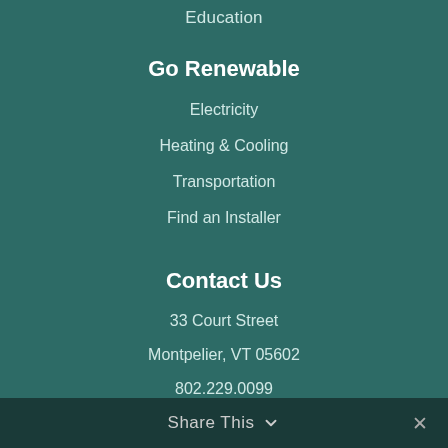Education
Go Renewable
Electricity
Heating & Cooling
Transportation
Find an Installer
Contact Us
33 Court Street
Montpelier, VT 05602
802.229.0099
info@revermont.org
[Figure (other): Social media icons: Facebook, Instagram, Twitter, LinkedIn]
Share This